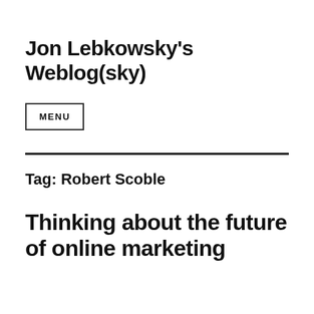Jon Lebkowsky's Weblog(sky)
MENU
Tag: Robert Scoble
Thinking about the future of online marketing